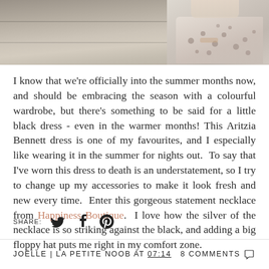[Figure (photo): Top portion of a photo showing concrete steps with a metal pole/post and a woman's feet wearing patterned flats/shoes, cropped at the top of the page.]
I know that we're officially into the summer months now, and should be embracing the season with a colourful wardrobe, but there's something to be said for a little black dress - even in the warmer months! This Aritzia Bennett dress is one of my favourites, and I especially like wearing it in the summer for nights out.  To say that I've worn this dress to death is an understatement, so I try to change up my accessories to make it look fresh and new every time.  Enter this gorgeous statement necklace from Happiness Boutique.  I love how the silver of the necklace is so striking against the black, and adding a big floppy hat puts me right in my comfort zone.
SHARE:
JOËLLE | LA PETITE NOOB AT 07:14   8 COMMENTS